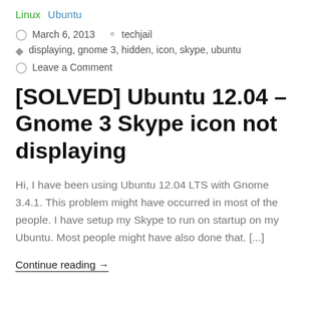Linux  Ubuntu
March 6, 2013   techjail
displaying, gnome 3, hidden, icon, skype, ubuntu
Leave a Comment
[SOLVED] Ubuntu 12.04 – Gnome 3 Skype icon not displaying
Hi, I have been using Ubuntu 12.04 LTS with Gnome 3.4.1. This problem might have occurred in most of the people. I have setup my Skype to run on startup on my Ubuntu. Most people might have also done that. [...]
Continue reading →